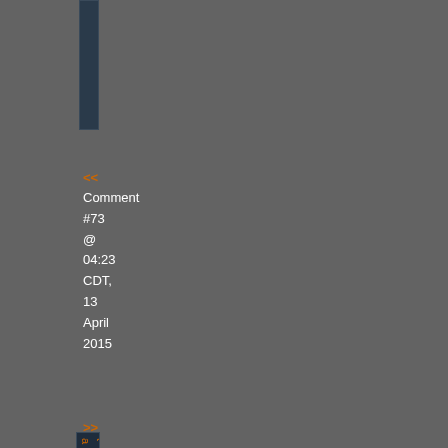[Figure (screenshot): Vertical navigation bar dark blue strip at top left]
<<
Comment
#73
@
04:23
CDT,
13
April
2015
>>
[Figure (screenshot): Vertical navigation bar with orange characters running vertically]